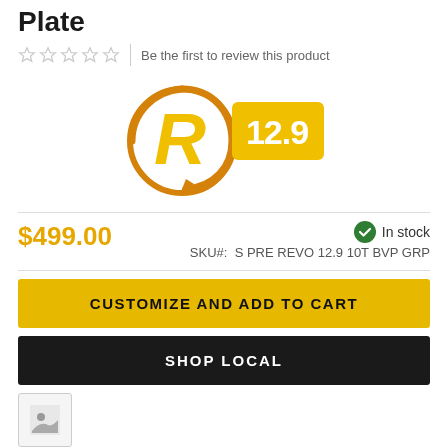Plate
Be the first to review this product
[Figure (logo): Rivelo / R logo with orange swirl circle and yellow 12.9 badge]
$499.00
In stock
SKU#: S PRE REVO 12.9 10T BVP GRP
CUSTOMIZE AND ADD TO CART
SHOP LOCAL
[Figure (other): Thumbnail image placeholder at bottom left]